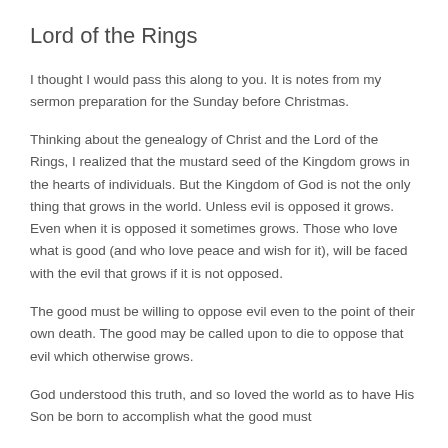Lord of the Rings
I thought I would pass this along to you. It is notes from my sermon preparation for the Sunday before Christmas.
Thinking about the genealogy of Christ and the Lord of the Rings, I realized that the mustard seed of the Kingdom grows in the hearts of individuals. But the Kingdom of God is not the only thing that grows in the world. Unless evil is opposed it grows. Even when it is opposed it sometimes grows. Those who love what is good (and who love peace and wish for it), will be faced with the evil that grows if it is not opposed.
The good must be willing to oppose evil even to the point of their own death. The good may be called upon to die to oppose that evil which otherwise grows.
God understood this truth, and so loved the world as to have His Son be born to accomplish what the good must